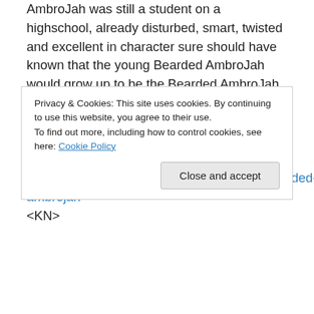AmbroJah was still a student on a highschool, already disturbed, smart, twisted and excellent in character sure should have known that the young Bearded AmbroJah would grow up to be the Bearded AmbroJah that got a whole crowd of dancing followers in the Bearded AmbroJah cult. Or well, it isn't proven of course; but that's how the music comes across; dancey cult – music!
http://shaftrecords.bandcamp.com/album/bearded-ambrojah
<KN>
Advertisements
Privacy & Cookies: This site uses cookies. By continuing to use this website, you agree to their use.
To find out more, including how to control cookies, see here: Cookie Policy
Close and accept